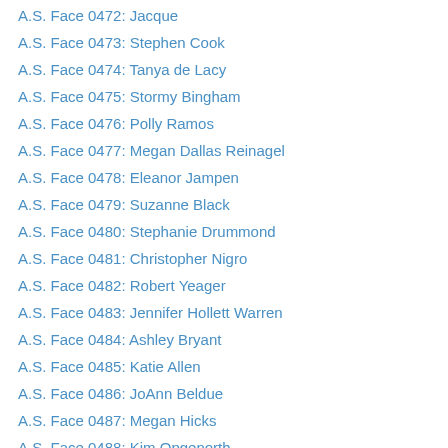A.S. Face 0472: Jacque
A.S. Face 0473: Stephen Cook
A.S. Face 0474: Tanya de Lacy
A.S. Face 0475: Stormy Bingham
A.S. Face 0476: Polly Ramos
A.S. Face 0477: Megan Dallas Reinagel
A.S. Face 0478: Eleanor Jampen
A.S. Face 0479: Suzanne Black
A.S. Face 0480: Stephanie Drummond
A.S. Face 0481: Christopher Nigro
A.S. Face 0482: Robert Yeager
A.S. Face 0483: Jennifer Hollett Warren
A.S. Face 0484: Ashley Bryant
A.S. Face 0485: Katie Allen
A.S. Face 0486: JoAnn Beldue
A.S. Face 0487: Megan Hicks
A.S. Face 0488: Kim Opgenorth
A.S. Face 0489: Nathaniel Opgenorth
A.S. Face 0490: P.C.
A.S. Face 0491: Alexis